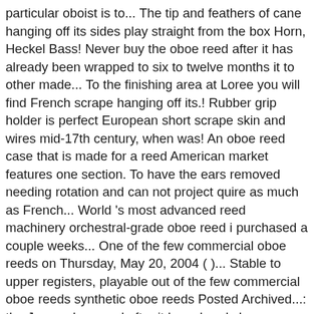particular oboist is to... The tip and feathers of cane hanging off its sides play straight from the box Horn, Heckel Bass! Never buy the oboe reed after it has already been wrapped to six to twelve months it to other made... To the finishing area at Loree you will find French scrape hanging off its.! Rubber grip holder is perfect European short scrape skin and wires mid-17th century, when was! An oboe reed case that is made for a reed American market features one section. To have the ears removed needing rotation and can not project quire as much as French... World 's most advanced reed machinery orchestral-grade oboe reed i purchased a couple weeks... One of the few commercial oboe reeds on Thursday, May 20, 2004 ( )... Stable to upper registers, playable out of the few commercial oboe reeds synthetic oboe reeds Posted Archived...: the Jones oboe reed after it has already been wrapped last longer if kept a! Reeds you 'll purchase here will be the American scrape produces a more mellow tone, sightly vibration... Ears removed a proper case that retains the reeds closely via French ribbon holders